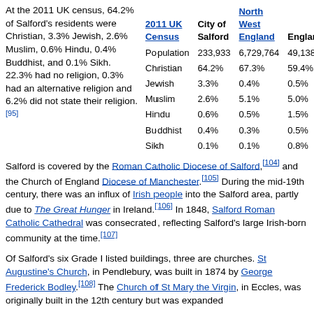At the 2011 UK census, 64.2% of Salford's residents were Christian, 3.3% Jewish, 2.6% Muslim, 0.6% Hindu, 0.4% Buddhist, and 0.1% Sikh. 22.3% had no religion, 0.3% had an alternative religion and 6.2% did not state their religion.[95]
| 2011 UK Census | City of Salford | North West England | England |
| --- | --- | --- | --- |
| Population | 233,933 | 6,729,764 | 49,138,831 |
| Christian | 64.2% | 67.3% | 59.4% |
| Jewish | 3.3% | 0.4% | 0.5% |
| Muslim | 2.6% | 5.1% | 5.0% |
| Hindu | 0.6% | 0.5% | 1.5% |
| Buddhist | 0.4% | 0.3% | 0.5% |
| Sikh | 0.1% | 0.1% | 0.8% |
Salford is covered by the Roman Catholic Diocese of Salford,[104] and the Church of England Diocese of Manchester.[105] During the mid-19th century, there was an influx of Irish people into the Salford area, partly due to The Great Hunger in Ireland.[106] In 1848, Salford Roman Catholic Cathedral was consecrated, reflecting Salford's large Irish-born community at the time.[107]
Of Salford's six Grade I listed buildings, three are churches. St Augustine's Church, in Pendlebury, was built in 1874 by George Frederick Bodley.[108] The Church of St Mary the Virgin, in Eccles, was originally built in the 12th century but was expanded